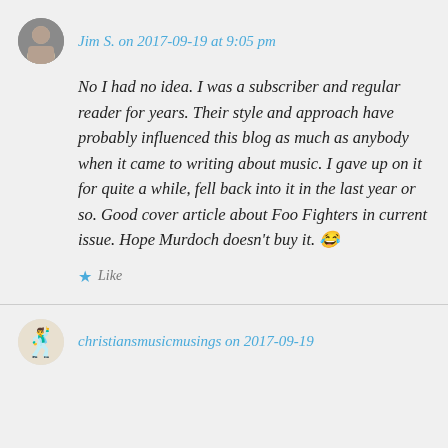Jim S. on 2017-09-19 at 9:05 pm
No I had no idea. I was a subscriber and regular reader for years. Their style and approach have probably influenced this blog as much as anybody when it came to writing about music. I gave up on it for quite a while, fell back into it in the last year or so. Good cover article about Foo Fighters in current issue. Hope Murdoch doesn't buy it. 😂
Like
christiansmusicmusings on 2017-09-19